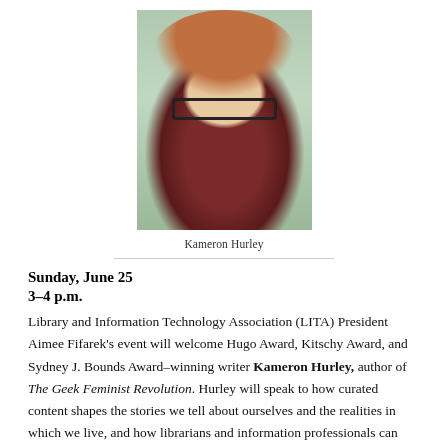[Figure (photo): Portrait photo of Kameron Hurley, a woman with curly reddish-brown hair and dark-rimmed glasses, wearing a dark red sweater, with greenery in the background.]
Kameron Hurley
Sunday, June 25
3–4 p.m.
Library and Information Technology Association (LITA) President Aimee Fifarek's event will welcome Hugo Award, Kitschy Award, and Sydney J. Bounds Award–winning writer Kameron Hurley, author of The Geek Feminist Revolution. Hurley will speak to how curated content shapes the stories we tell about ourselves and the realities in which we live, and how librarians and information professionals can help shape these narratives.